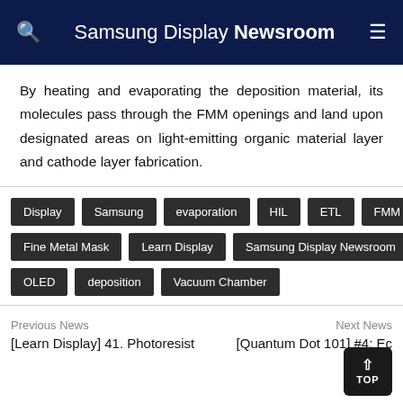Samsung Display Newsroom
By heating and evaporating the deposition material, its molecules pass through the FMM openings and land upon designated areas on light-emitting organic material layer and cathode layer fabrication.
Display
Samsung
evaporation
HIL
ETL
FMM
Fine Metal Mask
Learn Display
Samsung Display Newsroom
OLED
deposition
Vacuum Chamber
Previous News
Next News
[Learn Display] 41. Photoresist
[Quantum Dot 101] #4: Ec